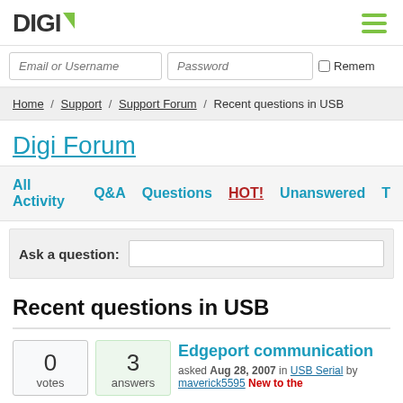DIGI [logo] | hamburger menu
Email or Username | Password | Remember
Home / Support / Support Forum / Recent questions in USB
Digi Forum
All Activity  Q&A  Questions  HOT!  Unanswered  T
Ask a question:
Recent questions in USB
0 votes | 3 answers | Edgeport communication | asked Aug 28, 2007 in USB Serial by maverick5595 New to the